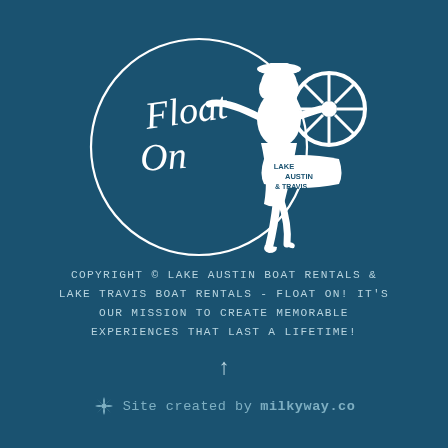[Figure (logo): Float On logo — vintage pin-up girl steering a boat wheel inside a circular script text circle reading 'Float On', with a banner reading 'Lake Austin & Travis'. White illustration on teal/dark blue background.]
COPYRIGHT © LAKE AUSTIN BOAT RENTALS & LAKE TRAVIS BOAT RENTALS - FLOAT ON! IT'S OUR MISSION TO CREATE MEMORABLE EXPERIENCES THAT LAST A LIFETIME!
↑
⁂ Site created by milkyway.co